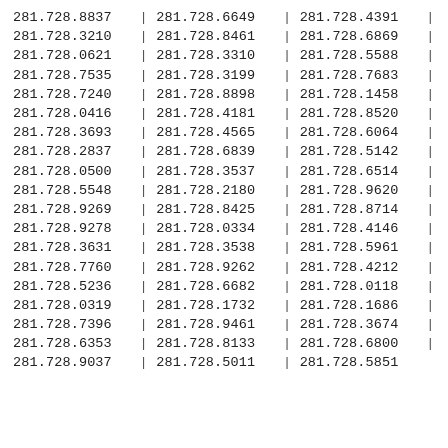| 281.728.8837 | | | 281.728.6649 | | | 281.728.4391 | | |
| 281.728.3210 | | | 281.728.8461 | | | 281.728.6869 | | |
| 281.728.0621 | | | 281.728.3310 | | | 281.728.5588 | | |
| 281.728.7535 | | | 281.728.3199 | | | 281.728.7683 | | |
| 281.728.7240 | | | 281.728.8898 | | | 281.728.1458 | | |
| 281.728.0416 | | | 281.728.4181 | | | 281.728.8520 | | |
| 281.728.3693 | | | 281.728.4565 | | | 281.728.6064 | | |
| 281.728.2837 | | | 281.728.6839 | | | 281.728.5142 | | |
| 281.728.0500 | | | 281.728.3537 | | | 281.728.6514 | | |
| 281.728.5548 | | | 281.728.2180 | | | 281.728.9620 | | |
| 281.728.9269 | | | 281.728.8425 | | | 281.728.8714 | | |
| 281.728.9278 | | | 281.728.0334 | | | 281.728.4146 | | |
| 281.728.3631 | | | 281.728.3538 | | | 281.728.5961 | | |
| 281.728.7760 | | | 281.728.9262 | | | 281.728.4212 | | |
| 281.728.5236 | | | 281.728.6682 | | | 281.728.0118 | | |
| 281.728.0319 | | | 281.728.1732 | | | 281.728.1686 | | |
| 281.728.7396 | | | 281.728.9461 | | | 281.728.3674 | | |
| 281.728.6353 | | | 281.728.8133 | | | 281.728.6800 | | |
| 281.728.9037 | | | 281.728.5011 | | | 281.728.5851 |  |